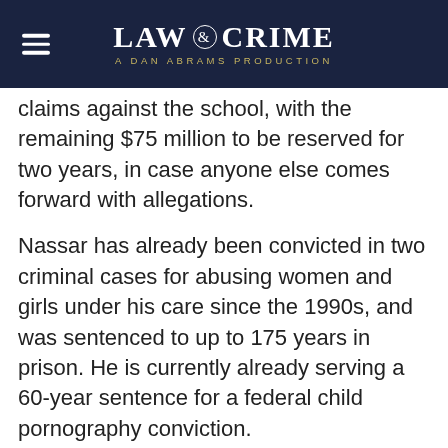LAW & CRIME — A DAN ABRAMS PRODUCTION
claims against the school, with the remaining $75 million to be reserved for two years, in case anyone else comes forward with allegations.
Nassar has already been convicted in two criminal cases for abusing women and girls under his care since the 1990s, and was sentenced to up to 175 years in prison. He is currently already serving a 60-year sentence for a federal child pornography conviction.
More than 200 people delivered victim impact statements at Nassar's sentencing hearings. Several, such as MSU gymnast Lindsey Lemko